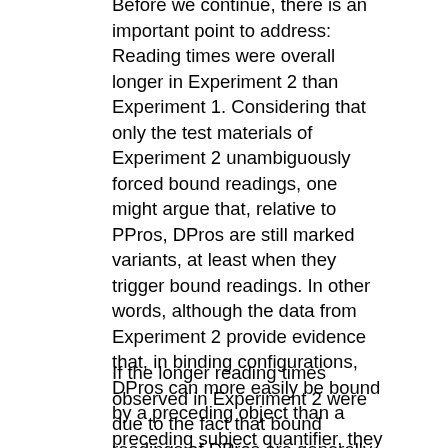Before we continue, there is an important point to address: Reading times were overall longer in Experiment 2 than Experiment 1. Considering that only the test materials of Experiment 2 unambiguously forced bound readings, one might argue that, relative to PPros, DPros are still marked variants, at least when they trigger bound readings. In other words, although the data from Experiment 2 provide evidence that, in binding configurations, DPros can more easily be bound by a preceding object than a preceding subject quantifier, they might still be poorer candidates, in both binding contexts, than their PPro counterparts. To test for this possibility, we conducted an offline rating study including DPros and PPros in quantification contexts.
If the longer reading times observed in Experiment 2 were due to the fact that bound readings of DPros are generally less acceptable than their (potentially) co-referential interpretations, the test sentences of Experiment 2, which included DPros, should be less acceptable than when these sentences include a PPro, which is arguably not marked. If, on the other hand, the